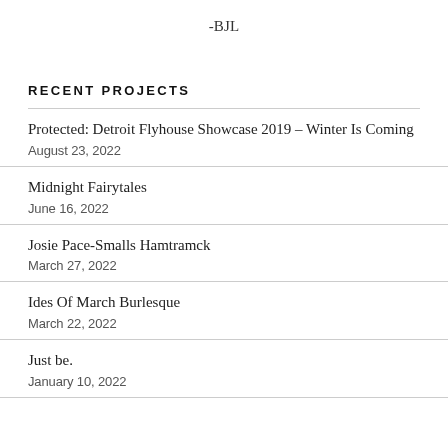-BJL
RECENT PROJECTS
Protected: Detroit Flyhouse Showcase 2019 – Winter Is Coming
August 23, 2022
Midnight Fairytales
June 16, 2022
Josie Pace-Smalls Hamtramck
March 27, 2022
Ides Of March Burlesque
March 22, 2022
Just be.
January 10, 2022